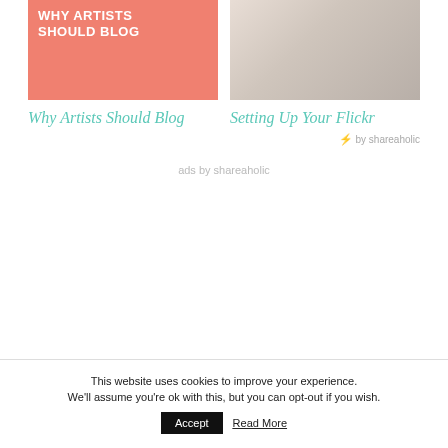[Figure (illustration): Pink/salmon colored card thumbnail with bold white uppercase text reading 'WHY ARTISTS SHOULD BLOG']
[Figure (photo): Photo of a person in white fabric/feathers, soft beige and white tones]
Why Artists Should Blog
Setting Up Your Flickr
⚡ by shareaholic
ads by shareaholic
This website uses cookies to improve your experience. We'll assume you're ok with this, but you can opt-out if you wish.
Accept
Read More